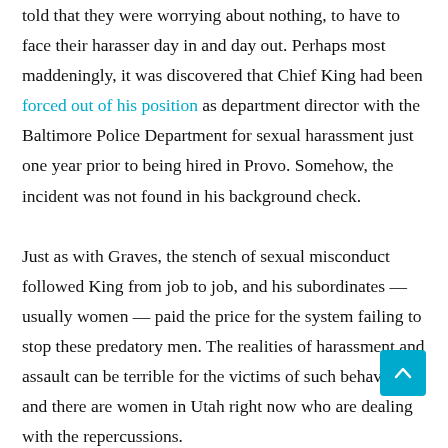told that they were worrying about nothing, to have to face their harasser day in and day out. Perhaps most maddeningly, it was discovered that Chief King had been forced out of his position as department director with the Baltimore Police Department for sexual harassment just one year prior to being hired in Provo. Somehow, the incident was not found in his background check.

Just as with Graves, the stench of sexual misconduct followed King from job to job, and his subordinates — usually women — paid the price for the system failing to stop these predatory men. The realities of harassment and assault can be terrible for the victims of such behavior, and there are women in Utah right now who are dealing with the repercussions.